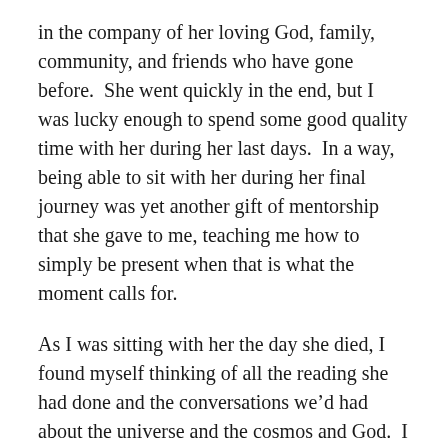in the company of her loving God, family, community, and friends who have gone before.  She went quickly in the end, but I was lucky enough to spend some good quality time with her during her last days.  In a way, being able to sit with her during her final journey was yet another gift of mentorship that she gave to me, teaching me how to simply be present when that is what the moment calls for.
As I was sitting with her the day she died, I found myself thinking of all the reading she had done and the conversations we'd had about the universe and the cosmos and God.  I found myself thinking, “Don’t be afraid Jeanne . . . just go be light.”  And so that’s what I told her, and that’s what she is, and that’s what she will always be to me, a shining light in love and memory.
One comment so far